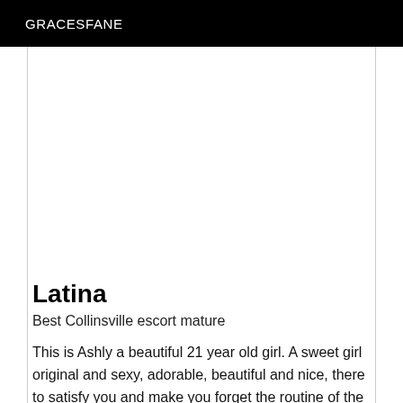GRACESFANE
[Figure (photo): Large image placeholder area, white/blank]
Latina
Best Collinsville escort mature
This is Ashly a beautiful 21 year old girl. A sweet girl original and sexy, adorable, beautiful and nice, there to satisfy you and make you forget the routine of the work. I